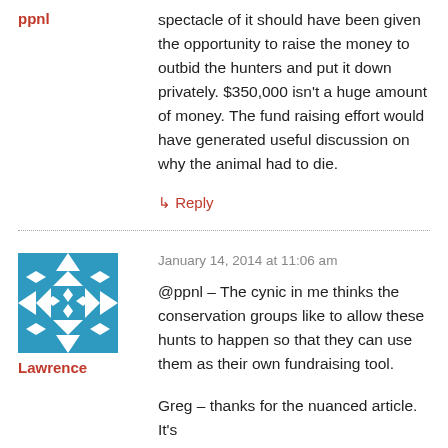ppnl
spectacle of it should have been given the opportunity to raise the money to outbid the hunters and put it down privately. $350,000 isn't a huge amount of money. The fund raising effort would have generated useful discussion on why the animal had to die.
↳ Reply
[Figure (illustration): Avatar image for user Lawrence — geometric teal/white diamond and triangle pattern]
Lawrence
January 14, 2014 at 11:06 am
@ppnl – The cynic in me thinks the conservation groups like to allow these hunts to happen so that they can use them as their own fundraising tool.
Greg – thanks for the nuanced article. It's